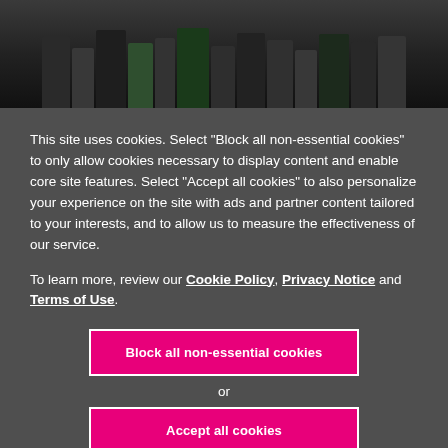[Figure (photo): Fashion show photo with dark background, models in dark outfits visible at top]
This site uses cookies. Select "Block all non-essential cookies" to only allow cookies necessary to display content and enable core site features. Select "Accept all cookies" to also personalize your experience on the site with ads and partner content tailored to your interests, and to allow us to measure the effectiveness of our service.
To learn more, review our Cookie Policy, Privacy Notice and Terms of Use.
Block all non-essential cookies
or
Accept all cookies